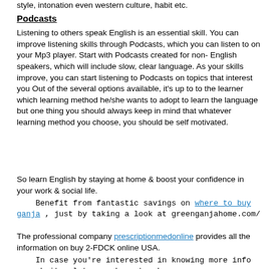style, intonation even western culture, habit etc.
Podcasts
Listening to others speak English is an essential skill. You can improve listening skills through Podcasts, which you can listen to on your Mp3 player. Start with Podcasts created for non- English speakers, which will include slow, clear language. As your skills improve, you can start listening to Podcasts on topics that interest you Out of the several options available, it's up to to the learner which learning method he/she wants to adopt to learn the language but one thing you should always keep in mind that whatever learning method you choose, you should be self motivated.
So learn English by staying at home & boost your confidence in your work & social life.
Benefit from fantastic savings on where to buy ganja , just by taking a look at greenganjahome.com/
The professional company prescriptionmedonline provides all the information on buy 2-FDCK online USA.
In case you're interested in knowing more info on website, later, makes stop by